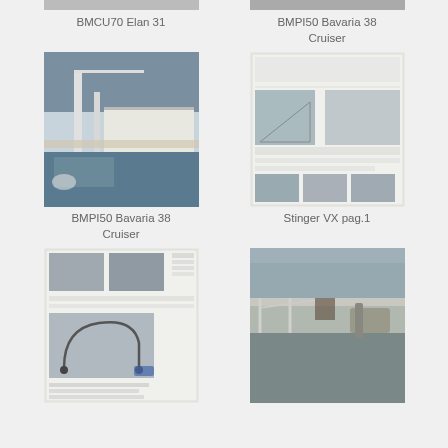[Figure (photo): Partial top of boat/marina photo - BMCU70 Elan 31]
[Figure (photo): Partial top of boat/marina photo - BMPI50 Bavaria 38 Cruiser]
BMCU70 Elan 31
BMPI50 Bavaria 38 Cruiser
[Figure (photo): Sailboat moored at marina dock, close-up of hull and deck - BMPI50 Bavaria 38 Cruiser]
[Figure (photo): Document page showing Stinger VX product with diagrams and marina photos - Stinger VX pag.1]
BMPI50 Bavaria 38 Cruiser
Stinger VX pag.1
[Figure (photo): Document page showing Stinger VX product detail with hardware photos and product images]
[Figure (photo): Person working on sailboat at marina dock, stainless steel fittings visible]